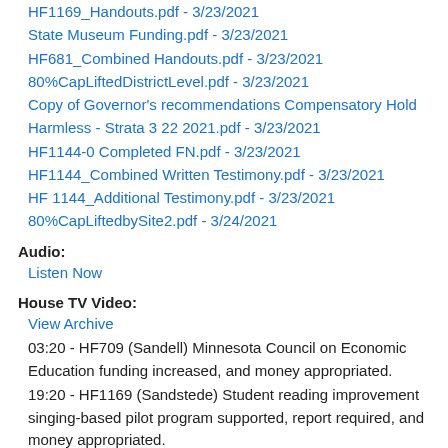HF1169_Handouts.pdf - 3/23/2021
State Museum Funding.pdf - 3/23/2021
HF681_Combined Handouts.pdf - 3/23/2021
80%CapLiftedDistrictLevel.pdf - 3/23/2021
Copy of Governor's recommendations Compensatory Hold Harmless - Strata 3 22 2021.pdf - 3/23/2021
HF1144-0 Completed FN.pdf - 3/23/2021
HF1144_Combined Written Testimony.pdf - 3/23/2021
HF 1144_Additional Testimony.pdf - 3/23/2021
80%CapLiftedbySite2.pdf - 3/24/2021
Audio:
Listen Now
House TV Video:
View Archive
03:20 - HF709 (Sandell) Minnesota Council on Economic Education funding increased, and money appropriated.
19:20 - HF1169 (Sandstede) Student reading improvement singing-based pilot program supported, report required, and money appropriated.
27:30 - HF681 (Frederick) Children's Museum of Southern Minnesota grant funding provided, and money appropriated